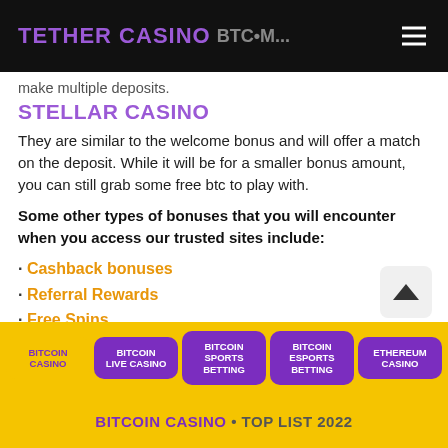TETHER CASINO
make multiple deposits.
STELLAR CASINO
They are similar to the welcome bonus and will offer a match on the deposit. While it will be for a smaller bonus amount, you can still grab some free btc to play with.
Some other types of bonuses that you will encounter when you access our trusted sites include:
Cashback bonuses
Referral Rewards
Free Spins
Loyalty and VIP Rewards
Keep in mind that all casino bonuses have terms and
BITCOIN CASINO • TOP LIST 2022